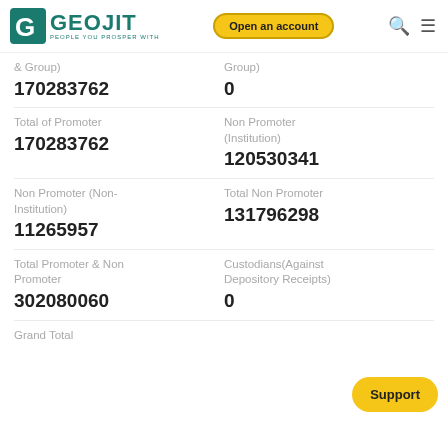GEOJIT — Open an account
& Group)
170283762
Group)
0
Total of Promoter
170283762
Non Promoter (Institution)
120530341
Non Promoter (Non-Institution)
11265957
Total Non Promoter
131796298
Total Promoter & Non Promoter
302080060
Custodians(Against Depository Receipts)
0
Grand Total